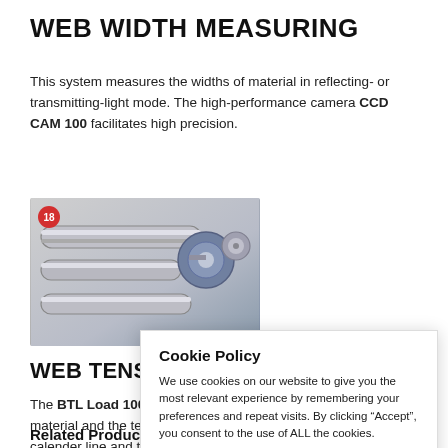WEB WIDTH MEASURING
This system measures the widths of material in reflecting- or transmitting-light mode. The high-performance camera CCD CAM 100 facilitates high precision.
[Figure (photo): Industrial machinery components — rollers and mechanical parts, with a red badge numbered 18 in the top-left corner.]
WEB TENS
The BTL Load 100 ... material and the te... calender line and t...
Cookie Policy
We use cookies on our website to give you the most relevant experience by remembering your preferences and repeat visits. By clicking "Accept", you consent to the use of ALL the cookies.
Cookie settings  ACCEPT
Related Products